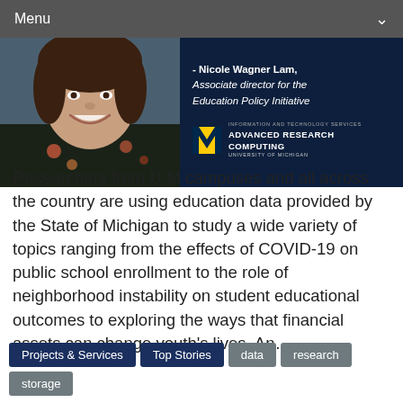Menu
[Figure (photo): Left half shows a woman smiling with dark hair and a floral blouse. Right half shows a dark navy background with quote attribution to Nicole Wagner Lam, Associate director for the Education Policy Initiative, and the University of Michigan Advanced Research Computing logo.]
Researchers from U-M campuses and all across the country are using education data provided by the State of Michigan to study a wide variety of topics ranging from the effects of COVID-19 on public school enrollment to the role of neighborhood instability on student educational outcomes to exploring the ways that financial assets can change youth's lives. An…
Projects & Services
Top Stories
data
research
storage